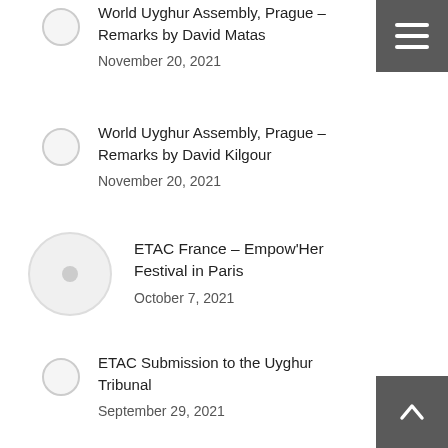World Uyghur Assembly, Prague – Remarks by David Matas
November 20, 2021
World Uyghur Assembly, Prague – Remarks by David Kilgour
November 20, 2021
ETAC France – Empow'Her Festival in Paris
October 7, 2021
ETAC Submission to the Uyghur Tribunal
September 29, 2021
Press Release: China issues “inadequate” and “misleading” response to UN correspondence on forced organ harvesting
September 24, 2021
Register Now: World Summit against Forced